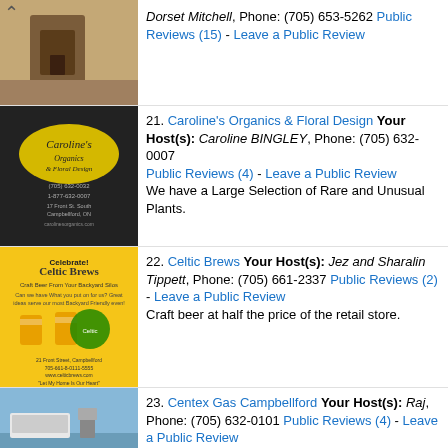Dorset Mitchell, Phone: (705) 653-5262 Public Reviews (15) - Leave a Public Review
21. Caroline's Organics & Floral Design Your Host(s): Caroline BINGLEY, Phone: (705) 632-0007 Public Reviews (4) - Leave a Public Review We have a Large Selection of Rare and Unusual Plants.
22. Celtic Brews Your Host(s): Jez and Sharalin Tippett, Phone: (705) 661-2337 Public Reviews (2) - Leave a Public Review Craft beer at half the price of the retail store.
23. Centex Gas Campbellford Your Host(s): Raj, Phone: (705) 632-0101 Public Reviews (4) - Leave a Public Review
24. Chicken Kingdom & Seafood Your Host(s): Mary Kingdom, Phone: (705) 653-4900 Public Reviews (6)